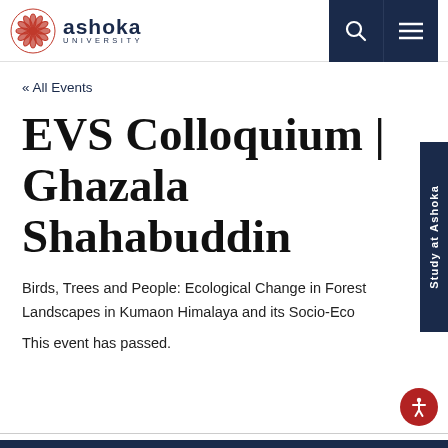[Figure (logo): Ashoka University logo with red circular mandala and text 'ashoka UNIVERSITY' in navy blue]
« All Events
EVS Colloquium | Ghazala Shahabuddin
Birds, Trees and People: Ecological Change in Forest Landscapes in Kumaon Himalaya and its Socio-Eco
This event has passed.